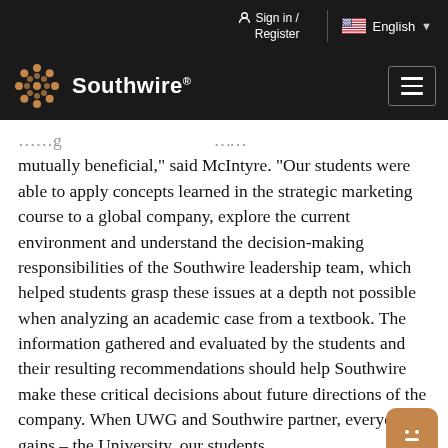Sign in / Register | English
[Figure (logo): Southwire logo with circular grape/leaf motif and wordmark in white on black background, hamburger menu button on right]
mutually beneficial,” said McIntyre. “Our students were able to apply concepts learned in the strategic marketing course to a global company, explore the current environment and understand the decision-making responsibilities of the Southwire leadership team, which helped students grasp these issues at a depth not possible when analyzing an academic case from a textbook. The information gathered and evaluated by the students and their resulting recommendations should help Southwire make these critical decisions about future directions of the company. When UWG and Southwire partner, everyone gains – the University, our students,